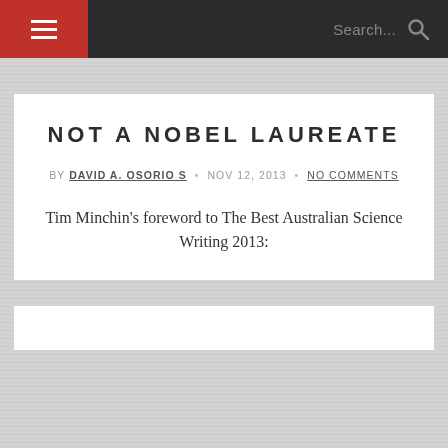≡  Search...  🔍
NOT A NOBEL LAUREATE
BY DAVID A. OSORIO S · NOV 12, 2013 · NO COMMENTS
Tim Minchin's foreword to The Best Australian Science Writing 2013: